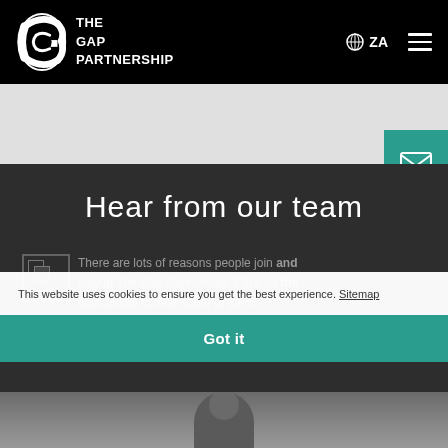THE GAP PARTNERSHIP | ZA
Hear from our team
There are lots of reasons people join and stay at The Gap Partnership. Click on the films below to hear some of them.
This website uses cookies to ensure you get the best experience. Sitemap
Got it
[Figure (photo): Bottom strip showing a person's head/shoulders photograph]